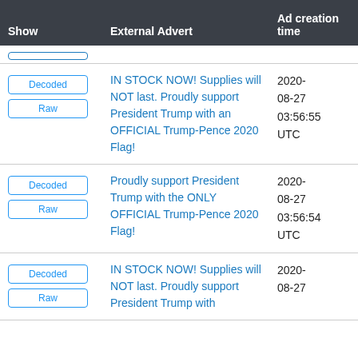| Show | External Advert | Ad creation time |
| --- | --- | --- |
| Decoded / Raw | IN STOCK NOW! Supplies will NOT last. Proudly support President Trump with an OFFICIAL Trump-Pence 2020 Flag! | 2020-08-27 03:56:55 UTC |
| Decoded / Raw | Proudly support President Trump with the ONLY OFFICIAL Trump-Pence 2020 Flag! | 2020-08-27 03:56:54 UTC |
| Decoded / Raw | IN STOCK NOW! Supplies will NOT last. Proudly support President Trump with... | 2020-08-27 03:56:58... |